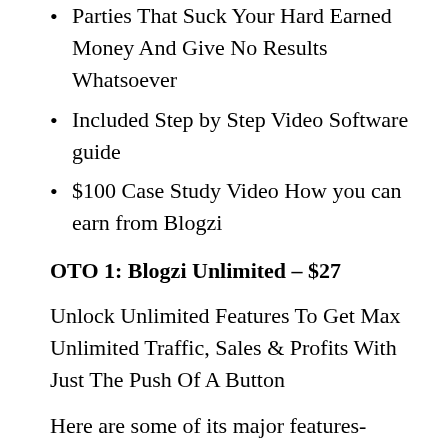Parties That Suck Your Hard Earned Money And Give No Results Whatsoever
Included Step by Step Video Software guide
$100 Case Study Video How you can earn from Blogzi
OTO 1: Blogzi Unlimited – $27
Unlock Unlimited Features To Get Max Unlimited Traffic, Sales & Profits With Just The Push Of A Button
Here are some of its major features-
Unlimited Themes